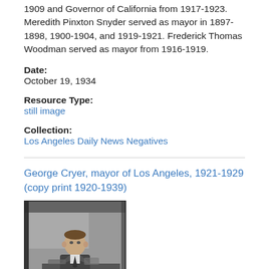1909 and Governor of California from 1917-1923. Meredith Pinxton Snyder served as mayor in 1897-1898, 1900-1904, and 1919-1921. Frederick Thomas Woodman served as mayor from 1916-1919.
Date:
October 19, 1934
Resource Type:
still image
Collection:
Los Angeles Daily News Negatives
George Cryer, mayor of Los Angeles, 1921-1929 (copy print 1920-1939)
[Figure (photo): Black and white photograph of George Cryer, a man in a suit, seated at a desk.]